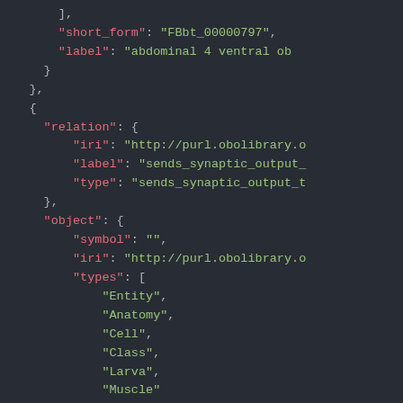[Figure (screenshot): A dark-themed code editor screenshot showing a JSON structure with fields including 'short_form', 'label', 'relation' (with 'iri', 'label', 'type'), 'object' (with 'symbol', 'iri', 'types' array containing 'Entity', 'Anatomy', 'Cell', 'Class', 'Larva', 'Muscle').]